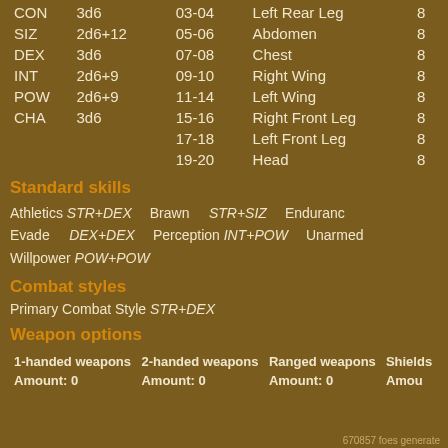| Stat | Roll | Range | Location | AP |
| --- | --- | --- | --- | --- |
| CON | 3d6 | 03-04 | Left Rear Leg | 8 |
| SIZ | 2d6+12 | 05-06 | Abdomen | 8 |
| DEX | 3d6 | 07-08 | Chest | 8 |
| INT | 2d6+9 | 09-10 | Right Wing | 8 |
| POW | 2d6+9 | 11-14 | Left Wing | 8 |
| CHA | 3d6 | 15-16 | Right Front Leg | 8 |
|  |  | 17-18 | Left Front Leg | 8 |
|  |  | 19-20 | Head | 8 |
Standard skills
Athletics STR+DEX   Brawn STR+SIZ   Endurance
Evade DEX+DEX   Perception INT+POW   Unarmed
Willpower POW+POW
Combat styles
Primary Combat Style STR+DEX
Weapon options
| 1-handed weapons | 2-handed weapons | Ranged weapons | Shields |
| --- | --- | --- | --- |
| Amount: 0 | Amount: 0 | Amount: 0 | Amou |
670857 foes generate